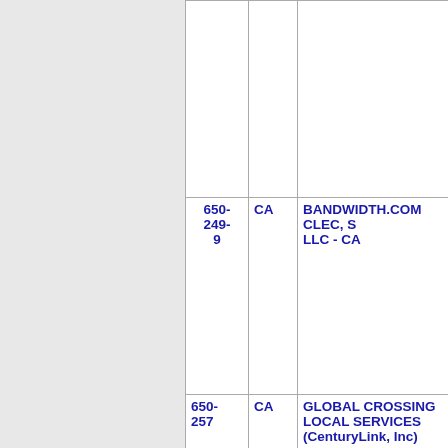| Number | State | Carrier Name |
| --- | --- | --- |
|  |  |  |
| 650-249-9 | CA | BANDWIDTH.COM CLEC, LLC - CA |
| 650-257 | CA | GLOBAL CROSSING LOCAL SERVICES (CenturyLink, Inc) |